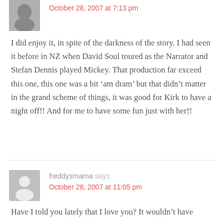[Figure (photo): Small avatar photo of a person (partially visible at top)]
October 28, 2007 at 7:13 pm
I did enjoy it, in spite of the darkness of the story. I had seen it before in NZ when David Soul toured as the Narrator and Stefan Dennis played Mickey. That production far exceed this one, this one was a bit ‘am dram’ but that didn’t matter in the grand scheme of things, it was good for Kirk to have a night off!! And for me to have some fun just with her!!
freddysmama says
October 28, 2007 at 11:05 pm
Have I told you lately that I love you? It wouldn’t have